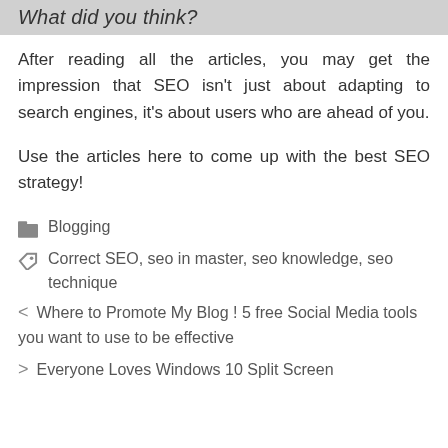What did you think?
After reading all the articles, you may get the impression that SEO isn't just about adapting to search engines, it's about users who are ahead of you.
Use the articles here to come up with the best SEO strategy!
Blogging
Correct SEO, seo in master, seo knowledge, seo technique
< Where to Promote My Blog ! 5 free Social Media tools you want to use to be effective
> Everyone Loves Windows 10 Split Screen